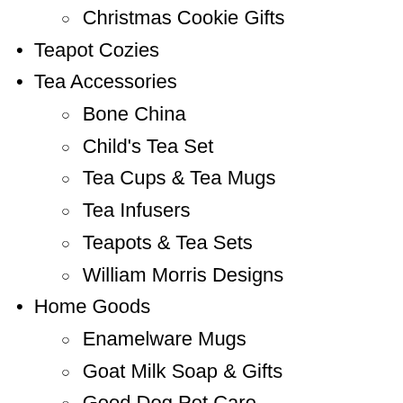Christmas Cookie Gifts
Teapot Cozies
Tea Accessories
Bone China
Child's Tea Set
Tea Cups & Tea Mugs
Tea Infusers
Teapots & Tea Sets
William Morris Designs
Home Goods
Enamelware Mugs
Goat Milk Soap & Gifts
Good Dog Pet Care
Moringa Oil
Organic Neem Oil